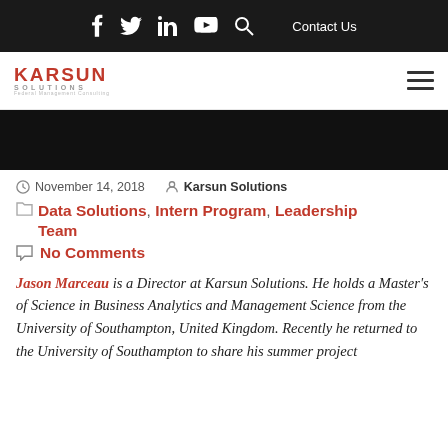f  t  in  ▶  🔍   Contact Us
[Figure (logo): Karsun Solutions logo — red bold KARSUN text, SOLUTIONS subtitle]
November 14, 2018   Karsun Solutions
Data Solutions, Intern Program, Leadership Team
No Comments
Jason Marceau is a Director at Karsun Solutions. He holds a Master's of Science in Business Analytics and Management Science from the University of Southampton, United Kingdom. Recently he returned to the University of Southampton to share his summer project